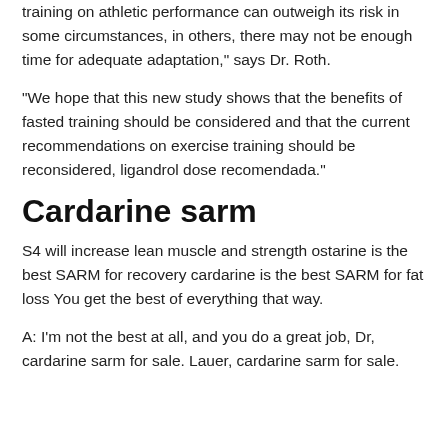training on athletic performance can outweigh its risk in some circumstances, in others, there may not be enough time for adequate adaptation," says Dr. Roth.
"We hope that this new study shows that the benefits of fasted training should be considered and that the current recommendations on exercise training should be reconsidered, ligandrol dose recomendada."
Cardarine sarm
S4 will increase lean muscle and strength ostarine is the best SARM for recovery cardarine is the best SARM for fat loss You get the best of everything that way.
A: I'm not the best at all, and you do a great job, Dr, cardarine sarm for sale. Lauer, cardarine sarm for sale.